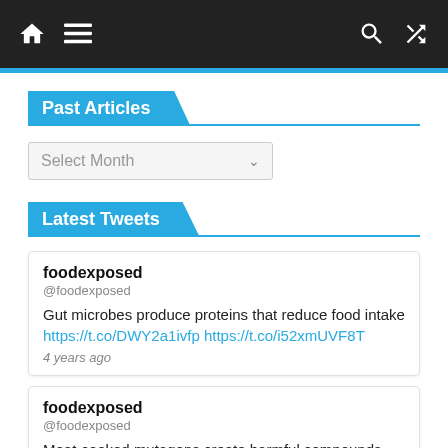Navigation bar with home, menu, search, and shuffle icons
Past Articles
Select Month
Latest Tweets
foodexposed @foodexposed
Gut microbes produce proteins that reduce food intake https://t.co/DWY2a1ivfp https://t.co/i52xmUVF8T
4 years ago
foodexposed @foodexposed
Meat-cooked mutagens create harmful compounds and increase cancer risk https://t.co/OUCM2rHzgi https://t.co/DIT8cNvJ92